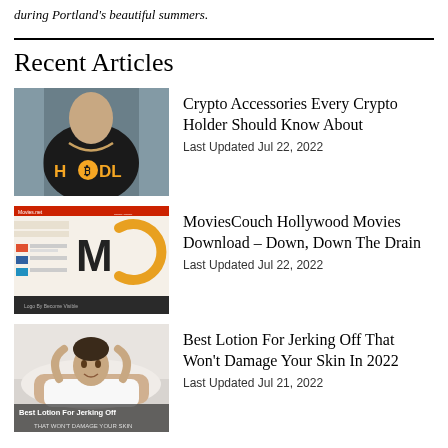during Portland's beautiful summers.
Recent Articles
[Figure (photo): Man wearing a black HODL crypto t-shirt with gold chain necklace]
Crypto Accessories Every Crypto Holder Should Know About
Last Updated Jul 22, 2022
[Figure (screenshot): MoviesCouch website screenshot showing MC logo and interface]
MoviesCouch Hollywood Movies Download – Down, Down The Drain
Last Updated Jul 22, 2022
[Figure (photo): Man lying on bed with text overlay: Best Lotion For Jerking Off That Won't Damage Your Skin]
Best Lotion For Jerking Off That Won't Damage Your Skin In 2022
Last Updated Jul 21, 2022